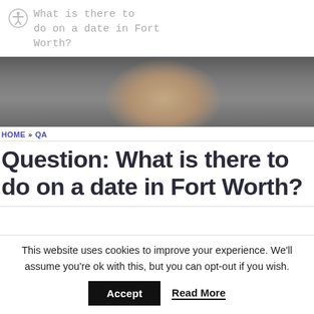What is there to do on a date in Fort Worth?
[Figure (photo): Hero image with blurred background showing hands or sculpture, dark grey and warm tones]
HOME » QA
Question: What is there to do on a date in Fort Worth?
This website uses cookies to improve your experience. We'll assume you're ok with this, but you can opt-out if you wish. Accept  Read More